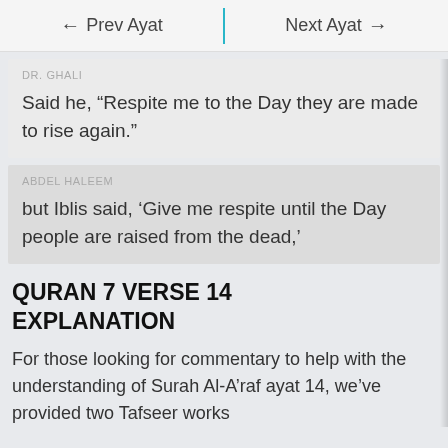← Prev Ayat   Next Ayat →
DR. GHALI
Said he, “Respite me to the Day they are made to rise again.”
ABDEL HALEEM
but Iblis said, ‘Give me respite until the Day people are raised from the dead,’
QURAN 7 VERSE 14 EXPLANATION
For those looking for commentary to help with the understanding of Surah Al-A’raf ayat 14, we’ve provided two Tafseer works